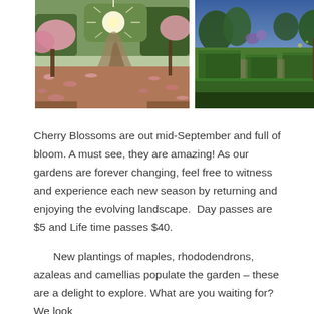[Figure (photo): Two garden photographs side by side. Left: a sunlit path covered in pink cherry blossom petals with cherry trees and other trees lining the path, sun rays visible through the branches. Right: a formal garden with neatly trimmed green hedges/topiary in geometric shapes, with trees and purple flowers visible in the background.]
Cherry Blossoms are out mid-September and full of bloom. A must see, they are amazing! As our gardens are forever changing, feel free to witness and experience each new season by returning and enjoying the evolving landscape.  Day passes are $5 and Life time passes $40.
New plantings of maples, rhododendrons, azaleas and camellias populate the garden – these are a delight to explore. What are you waiting for?  We look